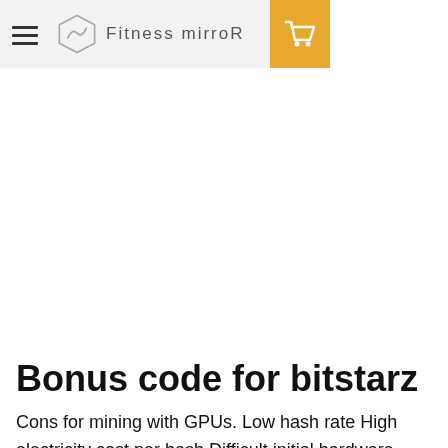Fitness mirroR
Bonus code for bitstarz
Cons for mining with GPUs. Low hash rate High electricity cost per hash Difficult initial hardware setup, bonus code for bitstarz. Pros for mining with ASICs. Easy to set up